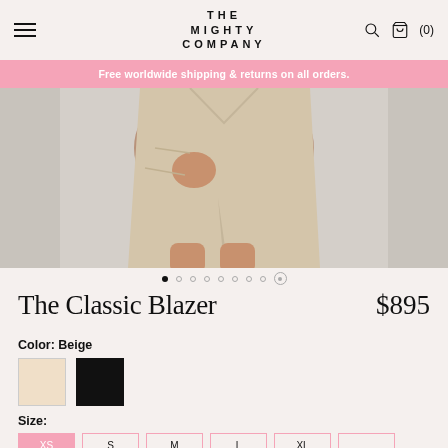THE MIGHTY COMPANY
Free worldwide shipping & returns on all orders.
[Figure (photo): Model wearing beige blazer and mini skirt, cropped to show torso and legs against a light gray-blue background]
The Classic Blazer
$895
Color: Beige
Size: